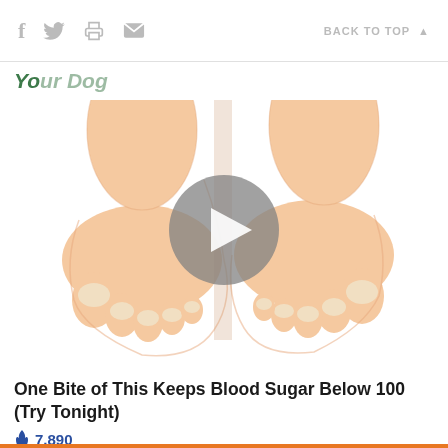f  [twitter]  [print]  [email]   BACK TO TOP ▲
Yc... Dog
[Figure (illustration): Illustration of two human feet from above, with a circular video play button overlay in the center. The feet are drawn in a cartoon style with peach/skin-tone coloring and visible toenails.]
One Bite of This Keeps Blood Sugar Below 100 (Try Tonight)
🔥 7,890
Sponsored Ad